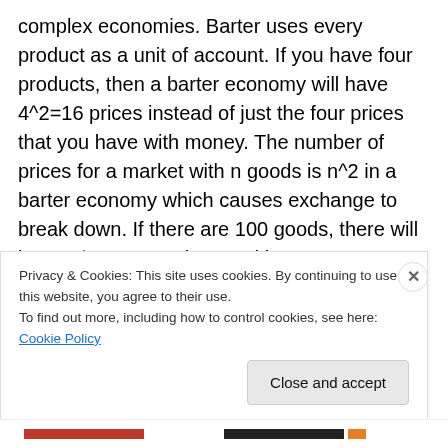complex economies.  Barter uses every product as a unit of account.  If you have four products, then a barter economy will have 4^2=16 prices instead of just the four prices that you have with money.  The number of prices for a market with n goods is n^2 in a barter economy which causes exchange to break down.  If there are 100 goods, there will be 100^2=1,000 prices and because every product before mass production was unique, everything was a unique product which caused pricing to explode in complexity without a money as a unit of account.  Imagine trying to invent accounting in a barter economy!
Privacy & Cookies: This site uses cookies. By continuing to use this website, you agree to their use.
To find out more, including how to control cookies, see here: Cookie Policy